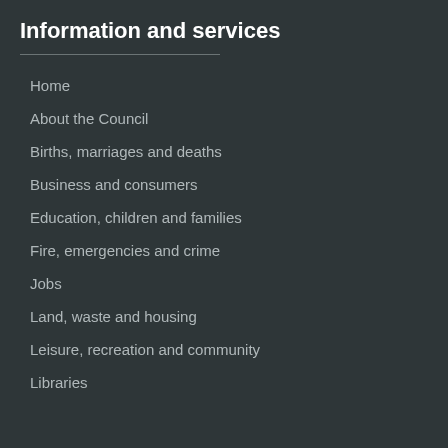Information and services
Home
About the Council
Births, marriages and deaths
Business and consumers
Education, children and families
Fire, emergencies and crime
Jobs
Land, waste and housing
Leisure, recreation and community
Libraries